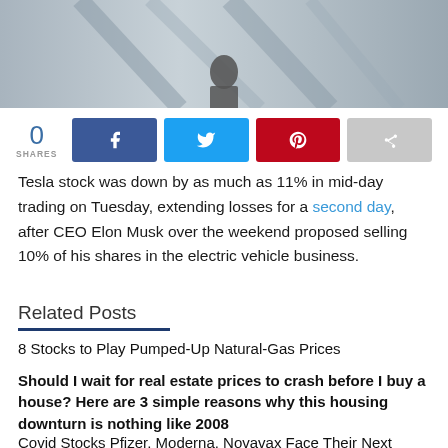[Figure (photo): Hero image showing a silhouette of a person against a light background, appearing to be a building or architectural context.]
0
SHARES
[Figure (infographic): Social share buttons: Facebook (blue), Twitter (light blue), Pinterest (red), Share (gray)]
Tesla stock was down by as much as 11% in mid-day trading on Tuesday, extending losses for a second day, after CEO Elon Musk over the weekend proposed selling 10% of his shares in the electric vehicle business.
Related Posts
8 Stocks to Play Pumped-Up Natural-Gas Prices
Should I wait for real estate prices to crash before I buy a house? Here are 3 simple reasons why this housing downturn is nothing like 2008
Covid Stocks Pfizer, Moderna, Novavax Face Their Next Challenge: And little for the Pills